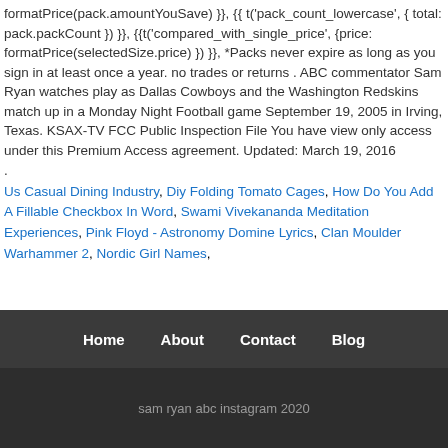formatPrice(pack.amountYouSave) }}, {{ t('pack_count_lowercase', { total: pack.packCount }) }}, {{t('compared_with_single_price', {price: formatPrice(selectedSize.price) }) }}, *Packs never expire as long as you sign in at least once a year. no trades or returns . ABC commentator Sam Ryan watches play as Dallas Cowboys and the Washington Redskins match up in a Monday Night Football game September 19, 2005 in Irving, Texas. KSAX-TV FCC Public Inspection File You have view only access under this Premium Access agreement. Updated: March 19, 2016
.
Us Casual Dining Industry, Diy Folding Tomato Cages, How Do You Add A Fillable Checkbox In Word, Swami Vivekananda Meditation Experiences, Pink Floyd - Astronomy Domine Lyrics, Clan Moulder Warhammer 2, Nordic Girl Names,
Home   About   Contact   Blog
sam ryan abc instagram 2020